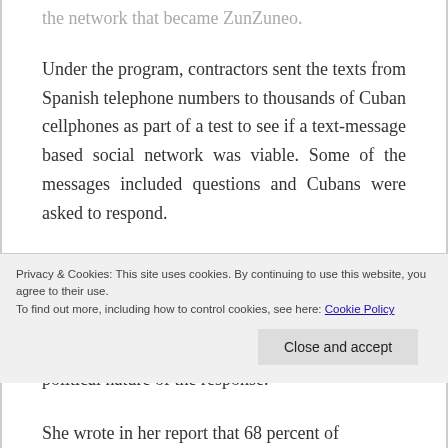the network that became ZunZuneo.
Under the program, contractors sent the texts from Spanish telephone numbers to thousands of Cuban cellphones as part of a test to see if a text-message based social network was viable. Some of the messages included questions and Cubans were asked to respond.
Cambronero collected a sample of more than 700 responses and analyzed them according to two variables. The first was the level of interest in the messages received, and the second was the political nature of the response.
Privacy & Cookies: This site uses cookies. By continuing to use this website, you agree to their use.
To find out more, including how to control cookies, see here: Cookie Policy
Close and accept
She wrote in her report that 68 percent of